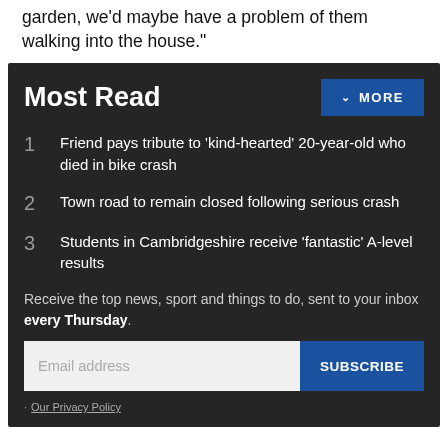garden, we'd maybe have a problem of them walking into the house."
Most Read
Friend pays tribute to 'kind-hearted' 20-year-old who died in bike crash
Town road to remain closed following serious crash
Students in Cambridgeshire receive 'fantastic' A-level results
Receive the top news, sport and things to do, sent to your inbox every Thursday.
Our Privacy Policy